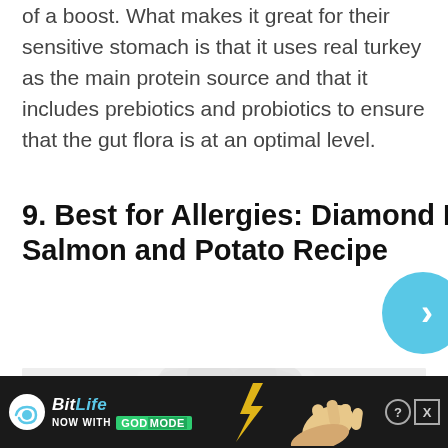of a boost. What makes it great for their sensitive stomach is that it uses real turkey as the main protein source and that it includes prebiotics and probiotics to ensure that the gut flora is at an optimal level.
9. Best for Allergies: Diamond Naturals Skin & Coat Real Salmon and Potato Recipe
[Figure (photo): Product packaging for Diamond Naturals dog food, white bag with Diamond Naturals logo visible]
[Figure (screenshot): Advertisement banner for BitLife game with 'NOW WITH GOD MODE' text, hand illustration, and close/help buttons]